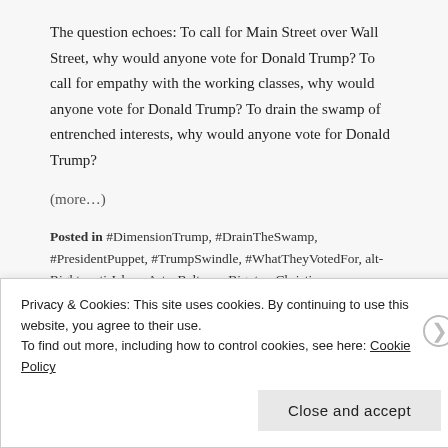The question echoes: To call for Main Street over Wall Street, why would anyone vote for Donald Trump? To call for empathy with the working classes, why would anyone vote for Donald Trump? To drain the swamp of entrenched interests, why would anyone vote for Donald Trump?
(more…)
Posted in #DimensionTrump, #DrainTheSwamp, #PresidentPuppet, #TrumpSwindle, #WhatTheyVotedFor, alt-Right, anti-Islam, Arts, Beltway, Bigotry, Christian supremacism, Christianity, Cinema, Civil
Privacy & Cookies: This site uses cookies. By continuing to use this website, you agree to their use.
To find out more, including how to control cookies, see here: Cookie Policy
Close and accept